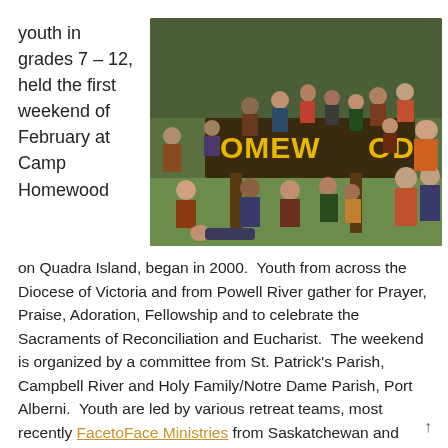youth in grades 7 – 12, held the first weekend of February at Camp Homewood
[Figure (photo): Group photo of youth and adults posing in front of a large Camp Homewood sign outdoors, surrounded by trees and green grass.]
on Quadra Island, began in 2000.  Youth from across the Diocese of Victoria and from Powell River gather for Prayer, Praise, Adoration, Fellowship and to celebrate the Sacraments of Reconciliation and Eucharist.  The weekend is organized by a committee from St. Patrick's Parish, Campbell River and Holy Family/Notre Dame Parish, Port Alberni.  Youth are led by various retreat teams, most recently FacetoFace Ministries from Saskatchewan and camp activities like horseback riding,